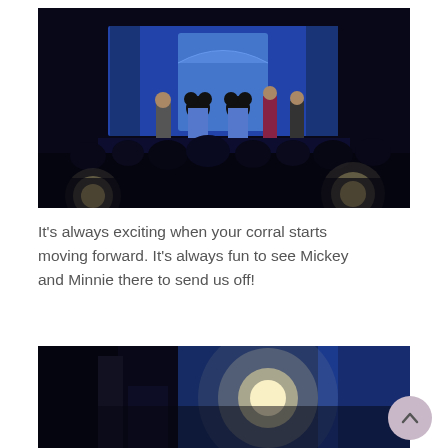[Figure (photo): Dark nighttime photo of a stage with Mickey and Minnie Mouse characters in blue outfits, with several people on stage and a large illuminated backdrop. Audience silhouettes visible in foreground with stage lights at bottom.]
It's always exciting when your corral starts moving forward. It's always fun to see Mickey and Minnie there to send us off!
[Figure (photo): Dark nighttime photo showing a bright stage light and blue illuminated backdrop, partial view of a Disney event venue.]